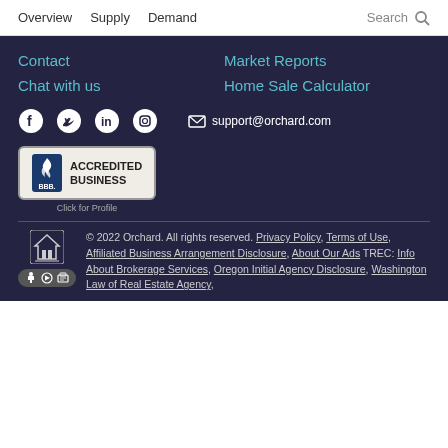Overview  Supply  Demand  Search
Contact
Market Reports
Chat with us
Home Sale Calculator
[Figure (infographic): Social media icons: Facebook, Twitter, LinkedIn, Instagram, and email support@orchard.com]
[Figure (logo): BBB Accredited Business badge with flame logo and 'Click for Profile' text]
© 2022 Orchard. All rights reserved. Privacy Policy, Terms of Use, Affiliated Business Arrangement Disclosure, About Our Ads TREC: Info About Brokerage Services, Oregon Initial Agency Disclosure, Washington Law of Real Estate Agency,
[Figure (logo): Equal Housing Opportunity logo and accessibility icons]